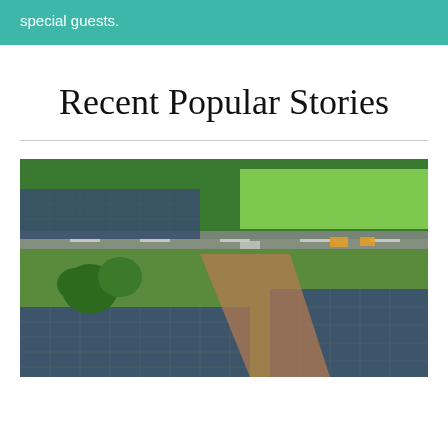special guests.
Recent Popular Stories
[Figure (photo): Aerial view of a large solar panel farm surrounded by trees and green fields, with a road running through the middle.]